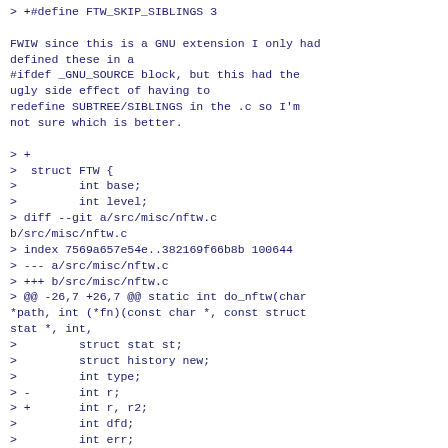> +#define FTW_SKIP_SIBLINGS 3
FWIW since this is a GNU extension I only had defined these in a
#ifdef _GNU_SOURCE block, but this had the ugly side effect of having to
redefine SUBTREE/SIBLINGS in the .c so I'm not sure which is better.
> +
>  struct FTW {
>         int base;
>         int level;
> diff --git a/src/misc/nftw.c b/src/misc/nftw.c
> index 7569a657e54e..382169f66b8b 100644
> --- a/src/misc/nftw.c
> +++ b/src/misc/nftw.c
> @@ -26,7 +26,7 @@ static int do_nftw(char *path, int (*fn)(const char *, const struct stat *, int,
>         struct stat st;
>         struct history new;
>         int type;
> -       int r;
> +       int r, r2;
>         int dfd;
>         int err;
>         struct FTW lev;
> @@ -72,12 +72,19 @@ static int do_nftw(char